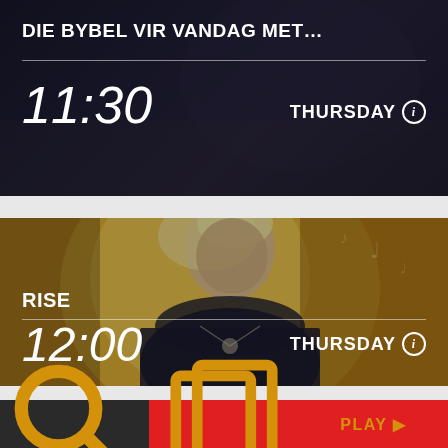[Figure (screenshot): TV schedule card showing 'DIE BYBEL VIR VANDAG MET...' at 11:30 on Thursday, dark background with praying hands silhouette]
[Figure (screenshot): TV schedule card showing 'RISE' program at 12:00 on Thursday, with a blonde woman on yellow/gold background]
[Figure (screenshot): Bottom navigation bar with search icon (dark), bookmark icon (red), and PLAY button (red with gold text)]